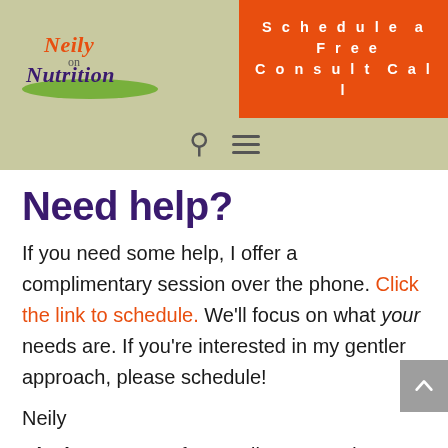Neily on Nutrition — Schedule a Free Consult Call
Need help?
If you need some help, I offer a complimentary session over the phone. Click the link to schedule. We'll focus on what your needs are. If you're interested in my gentler approach, please schedule!
Neily
Disclosure: As a former dieter turned flexitarian, I have found a